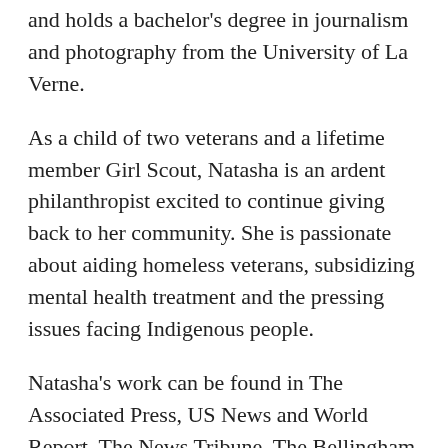and holds a bachelor's degree in journalism and photography from the University of La Verne.
As a child of two veterans and a lifetime member Girl Scout, Natasha is an ardent philanthropist excited to continue giving back to her community. She is passionate about aiding homeless veterans, subsidizing mental health treatment and the pressing issues facing Indigenous people.
Natasha's work can be found in The Associated Press, US News and World Report, The News Tribune, The Bellingham Herald, The Olympian, The Tri-City Herald, Indian Country Today, the Daily Mail, Diario de Mallorca, Annenberg Media, La Verne Magazine, Voice Magazine, the Irene Carlson Gallery, the Homestead Museum, CalTrans Museum, the University of La Verne's The Cultural & Natural History Collections, the